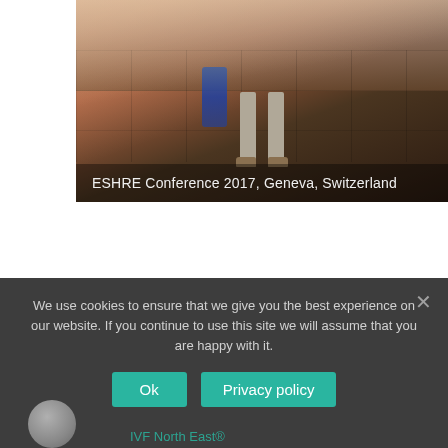[Figure (photo): Conference photo showing the lower body/legs of a person standing on tiled floor, with overlaid text 'ESHRE Conference 2017, Geneva, Switzerland']
ESHRE Conference 2017, Geneva, Switzerland
We use cookies to ensure that we give you the best experience on our website. If you continue to use this site we will assume that you are happy with it.
Ok   Privacy policy
IVF North East®